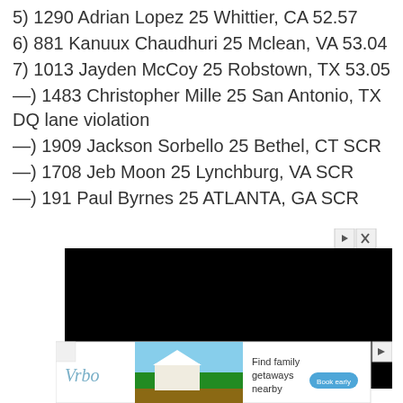5) 1290 Adrian Lopez 25 Whittier, CA 52.57
6) 881 Kanuux Chaudhuri 25 Mclean, VA 53.04
7) 1013 Jayden McCoy 25 Robstown, TX 53.05
—) 1483 Christopher Mille 25 San Antonio, TX DQ lane violation
—) 1909 Jackson Sorbello 25 Bethel, CT SCR
—) 1708 Jeb Moon 25 Lynchburg, VA SCR
—) 191 Paul Byrnes 25 ATLANTA, GA SCR
[Figure (other): Black video player advertisement block]
[Figure (other): Vrbo advertisement showing a beach house with text 'Find family getaways nearby' and a 'Book early' button]